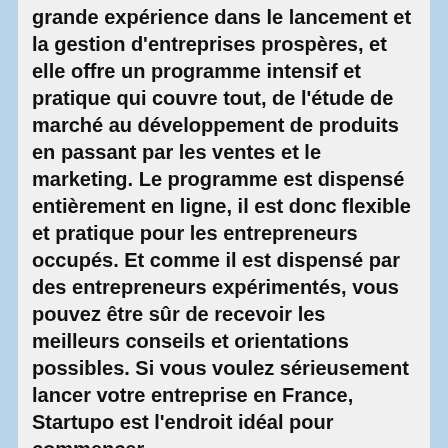grande expérience dans le lancement et la gestion d'entreprises prospères, et elle offre un programme intensif et pratique qui couvre tout, de l'étude de marché au développement de produits en passant par les ventes et le marketing. Le programme est dispensé entièrement en ligne, il est donc flexible et pratique pour les entrepreneurs occupés. Et comme il est dispensé par des entrepreneurs expérimentés, vous pouvez être sûr de recevoir les meilleurs conseils et orientations possibles. Si vous voulez sérieusement lancer votre entreprise en France, Startupo est l'endroit idéal pour commencer.
https://startupo.fr/course/287/ at 1:59pm EDT - August 13, 2022
Vous avez décidé de vous lancer dans les affaires. Mais il y a un gros obstacle que vous devez d'abord surmonter : trouver un emploi. Et pas n'importe quel emploi, mais un emploi avec un bon salaire et des